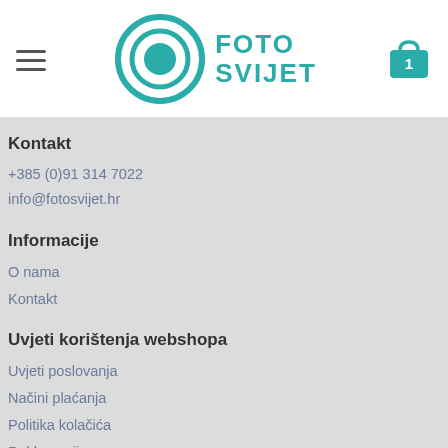[Figure (logo): Foto Svijet logo with teal circular lens icon and teal text FOTO SVIJET]
Kontakt
+385 (0)91 314 7022
info@fotosvijet.hr
Informacije
O nama
Kontakt
Uvjeti korištenja webshopa
Uvjeti poslovanja
Načini plaćanja
Politika kolačića
Reklamacije
Zahtiev za otkazivanjem ugovora